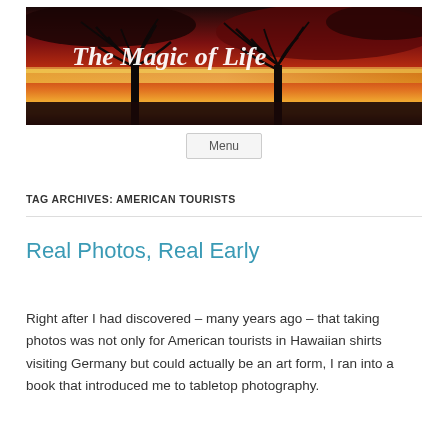[Figure (photo): Blog header image showing silhouettes of trees against a dramatic red and orange sunset sky, with white handwritten-style text reading 'The Magic of Life']
Menu
TAG ARCHIVES: AMERICAN TOURISTS
Real Photos, Real Early
Right after I had discovered – many years ago – that taking photos was not only for American tourists in Hawaiian shirts visiting Germany but could actually be an art form, I ran into a book that introduced me to tabletop photography.